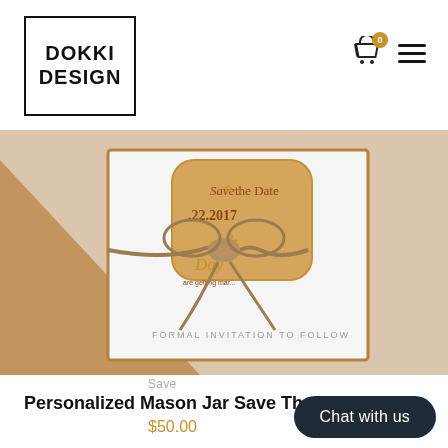[Figure (logo): Dokki Design logo — black bordered rectangle with bold text DOKKI DESIGN]
[Figure (photo): Product photo of a wooden mason jar Save the Date magnet tied with twine, placed on a kraft paper envelope with a white card reading FORMAL INVITATION TO FOLLOW]
Save
Personalized Mason Jar Save The D...
$50.00
Chat with us